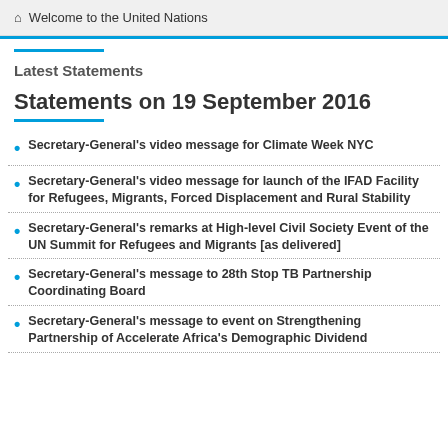Welcome to the United Nations
Latest Statements
Statements on 19 September 2016
Secretary-General's video message for Climate Week NYC
Secretary-General's video message for launch of the IFAD Facility for Refugees, Migrants, Forced Displacement and Rural Stability
Secretary-General's remarks at High-level Civil Society Event of the UN Summit for Refugees and Migrants [as delivered]
Secretary-General's message to 28th Stop TB Partnership Coordinating Board
Secretary-General's message to event on Strengthening Partnership of Accelerate Africa's Demographic Dividend